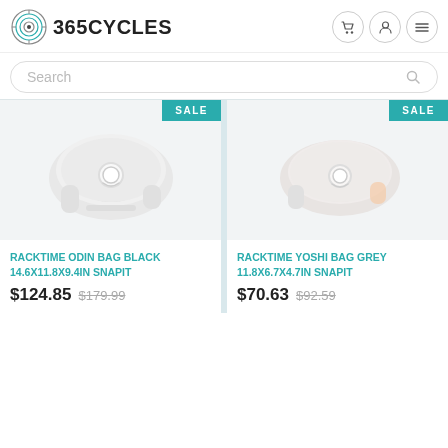365 CYCLES
Search
[Figure (photo): Racktime Odin Bag Black product photo, white/grey cycling bag with circular clasp]
[Figure (photo): Racktime Yoshi Bag Grey product photo, white/grey cycling bag with circular clasp]
RACKTIME ODIN BAG BLACK 14.6X11.8X9.4IN SNAPIT
$124.85  $179.99
RACKTIME YOSHI BAG GREY 11.8X6.7X4.7IN SNAPIT
$70.63  $92.59